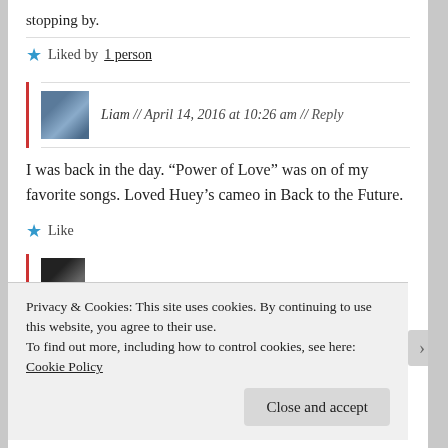stopping by.
★ Liked by 1 person
Liam // April 14, 2016 at 10:26 am // Reply
I was back in the day. “Power of Love” was on of my favorite songs. Loved Huey’s cameo in Back to the Future.
★ Like
Privacy & Cookies: This site uses cookies. By continuing to use this website, you agree to their use.
To find out more, including how to control cookies, see here: Cookie Policy
Close and accept